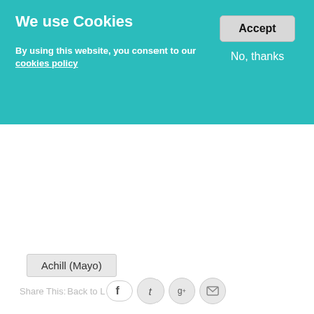We use Cookies
By using this website, you consent to our cookies policy
Accept
No, thanks
Achill (Mayo)
Share This: Back to L [Facebook] [Twitter] [Google+] [Email]